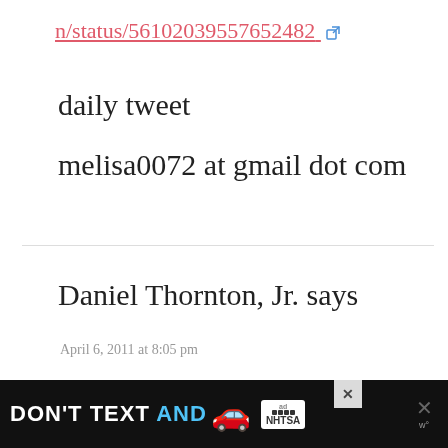n/status/56102039557652482 ↗
daily tweet
melisa0072 at gmail dot com
Daniel Thornton, Jr. says
April 6, 2011 at 8:05 pm
Tweet:
[Figure (screenshot): Advertisement banner: DON'T TEXT AND [car emoji] with ad and NHTSA logos, close button X, and wordmark]